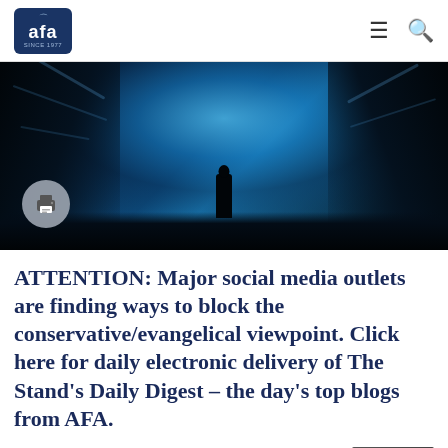AFA (since 1977) — navigation bar with hamburger menu and search icons
[Figure (photo): A silhouetted figure standing in a glowing blue ice cave tunnel]
ATTENTION: Major social media outlets are finding ways to block the conservative/evangelical viewpoint. Click here for daily electronic delivery of The Stand's Daily Digest – the day's top blogs from AFA.
...having the eyes of your hearts